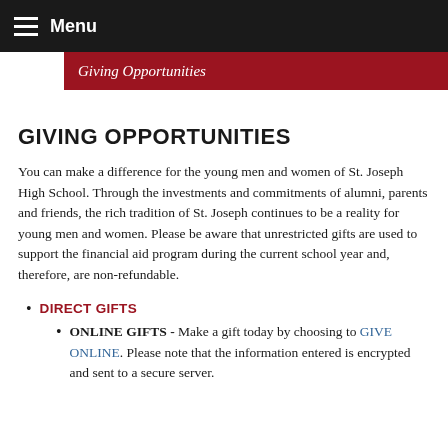Menu
Giving Opportunities
GIVING OPPORTUNITIES
You can make a difference for the young men and women of St. Joseph High School. Through the investments and commitments of alumni, parents and friends, the rich tradition of St. Joseph continues to be a reality for young men and women. Please be aware that unrestricted gifts are used to support the financial aid program during the current school year and, therefore, are non-refundable.
DIRECT GIFTS
ONLINE GIFTS - Make a gift today by choosing to GIVE ONLINE. Please note that the information entered is encrypted and sent to a secure server.